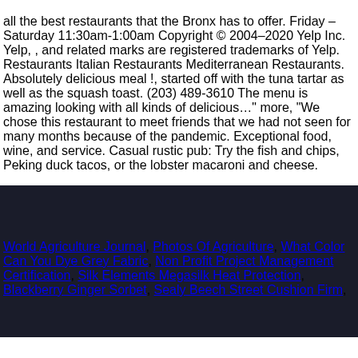all the best restaurants that the Bronx has to offer. Friday – Saturday 11:30am-1:00am Copyright © 2004–2020 Yelp Inc. Yelp, , and related marks are registered trademarks of Yelp. Restaurants Italian Restaurants Mediterranean Restaurants. Absolutely delicious meal !, started off with the tuna tartar as well as the squash toast. (203) 489-3610 The menu is amazing looking with all kinds of delicious…" more, "We chose this restaurant to meet friends that we had not seen for many months because of the pandemic. Exceptional food, wine, and service. Casual rustic pub: Try the fish and chips, Peking duck tacos, or the lobster macaroni and cheese.
World Agriculture Journal, Photos Of Agriculture, What Color Can You Dye Grey Fabric, Non Profit Project Management Certification, Silk Elements Megasilk Heat Protection, Blackberry Ginger Sorbet, Sealy Beech Street Cushion Firm,